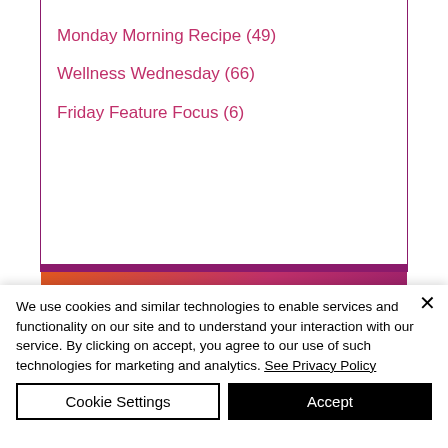Monday Morning Recipe (49)
Wellness Wednesday (66)
Friday Feature Focus (6)
[Figure (logo): 4U Pilates logo on orange-to-purple gradient background with stylized U icon]
We use cookies and similar technologies to enable services and functionality on our site and to understand your interaction with our service. By clicking on accept, you agree to our use of such technologies for marketing and analytics. See Privacy Policy
Cookie Settings
Accept